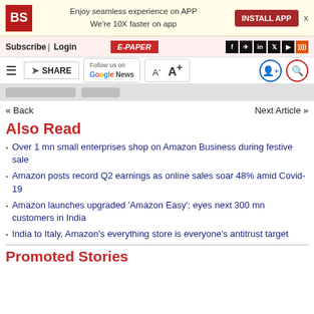BS | Enjoy seamless experience on APP We're 10X faster on app | INSTALL APP
Subscribe | Login | E-PAPER
SHARE | Follow us on Google News | A- A+
« Back    Next Article »
Also Read
Over 1 mn small enterprises shop on Amazon Business during festive sale
Amazon posts record Q2 earnings as online sales soar 48% amid Covid-19
Amazon launches upgraded 'Amazon Easy'; eyes next 300 mn customers in India
India to Italy, Amazon's everything store is everyone's antitrust target
Promoted Stories